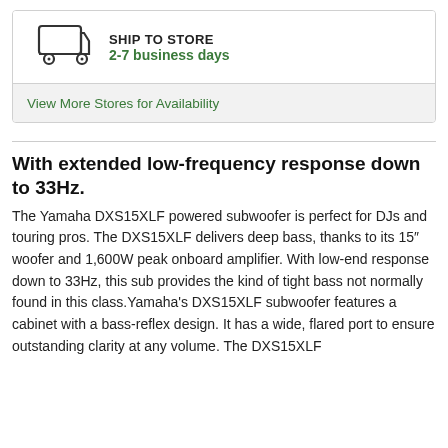[Figure (illustration): Ship to store box with a delivery truck icon and text 'SHIP TO STORE 2-7 business days' and a grey section below with a link 'View More Stores for Availability']
With extended low-frequency response down to 33Hz.
The Yamaha DXS15XLF powered subwoofer is perfect for DJs and touring pros. The DXS15XLF delivers deep bass, thanks to its 15″ woofer and 1,600W peak onboard amplifier. With low-end response down to 33Hz, this sub provides the kind of tight bass not normally found in this class.Yamaha's DXS15XLF subwoofer features a cabinet with a bass-reflex design. It has a wide, flared port to ensure outstanding clarity at any volume. The DXS15XLF